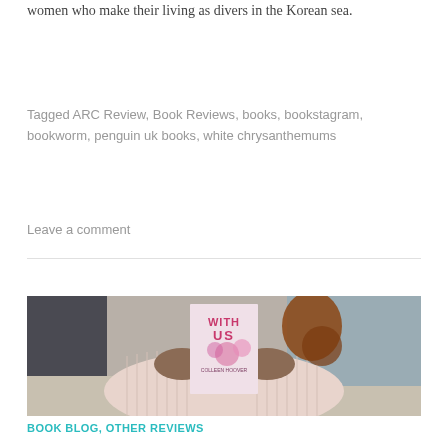women who make their living as divers in the Korean sea.
Tagged ARC Review, Book Reviews, books, bookstagram, bookworm, penguin uk books, white chrysanthemums
Leave a comment
[Figure (photo): Person in a pink ribbed sweater holding a book with 'WITH US' visible on the cover with pink floral design, photographed outdoors near water.]
BOOK BLOG, OTHER REVIEWS